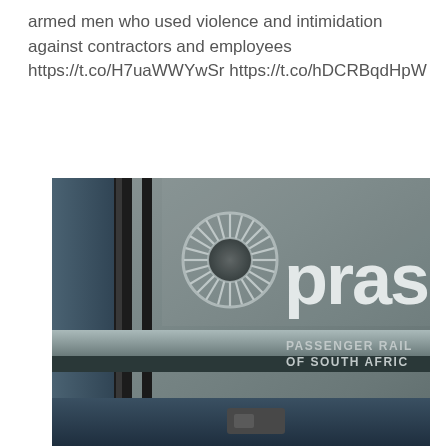armed men who used violence and intimidation against contractors and employees https://t.co/H7uaWWYwSr https://t.co/hDCRBqdHpW
[Figure (photo): Close-up photo of a Prasa (Passenger Rail Agency of South Africa) train car exterior, showing the Prasa logo (a circular starburst/wheel emblem) and partial text reading 'pras' and 'PASSENGER RAIL OF SOUTH AFRICA' on a dark grey metal surface with door frames and rails visible.]